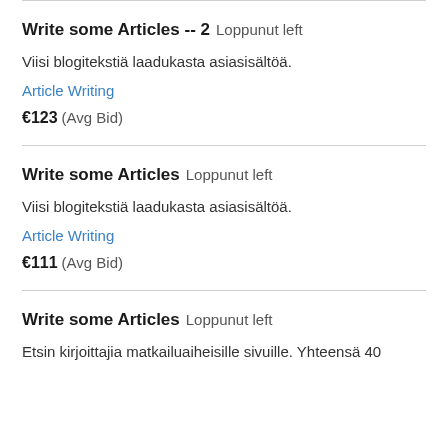Write some Articles -- 2  Loppunut left
Viisi blogitekstiä laadukasta asiasisältöä.
Article Writing
€123  (Avg Bid)
Write some Articles  Loppunut left
Viisi blogitekstiä laadukasta asiasisältöä.
Article Writing
€111  (Avg Bid)
Write some Articles  Loppunut left
Etsin kirjoittajia matkailuaiheisille sivuille. Yhteensä 40